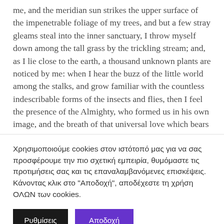me, and the meridian sun strikes the upper surface of the impenetrable foliage of my trees, and but a few stray gleams steal into the inner sanctuary, I throw myself down among the tall grass by the trickling stream; and, as I lie close to the earth, a thousand unknown plants are noticed by me: when I hear the buzz of the little world among the stalks, and grow familiar with the countless indescribable forms of the insects and flies, then I feel the presence of the Almighty, who formed us in his own image, and the breath of that universal love which bears and sustains us, as it floats around us in an eternity of bliss; and then, my
Χρησιμοποιούμε cookies στον ιστότοπό μας για να σας προσφέρουμε την πιο σχετική εμπειρία, θυμόμαστε τις προτιμήσεις σας και τις επαναλαμβανόμενες επισκέψεις. Κάνοντας κλικ στο "Αποδοχή", αποδέχεστε τη χρήση ΟΛΩΝ των cookies.
Ρυθμίσεις | Αποδοχή